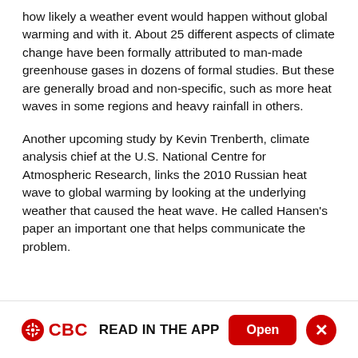how likely a weather event would happen without global warming and with it. About 25 different aspects of climate change have been formally attributed to man-made greenhouse gases in dozens of formal studies. But these are generally broad and non-specific, such as more heat waves in some regions and heavy rainfall in others.
Another upcoming study by Kevin Trenberth, climate analysis chief at the U.S. National Centre for Atmospheric Research, links the 2010 Russian heat wave to global warming by looking at the underlying weather that caused the heat wave. He called Hansen's paper an important one that helps communicate the problem.
CBC READ IN THE APP  Open